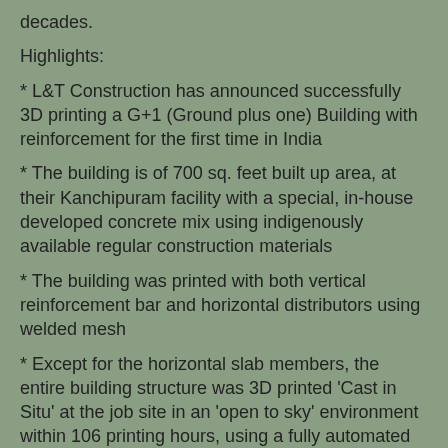decades.
Highlights:
* L&T Construction has announced successfully 3D printing a G+1 (Ground plus one) Building with reinforcement for the first time in India
* The building is of 700 sq. feet built up area, at their Kanchipuram facility with a special, in-house developed concrete mix using indigenously available regular construction materials
* The building was printed with both vertical reinforcement bar and horizontal distributors using welded mesh
* Except for the horizontal slab members, the entire building structure was 3D printed 'Cast in Situ' at the job site in an 'open to sky' environment within 106 printing hours, using a fully automated 3D printer
* This achievement will certainly give a huge fillip for the mass housing segment, with the objective of creating 60